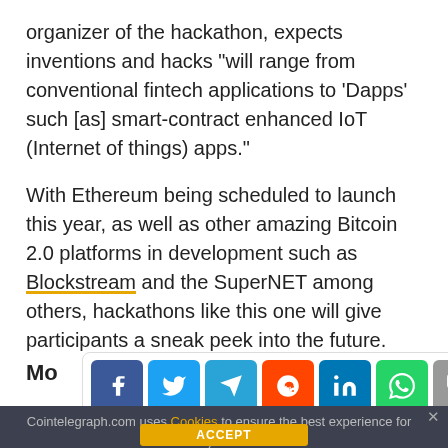organizer of the hackathon, expects inventions and hacks "will range from conventional fintech applications to 'Dapps' such [as] smart-contract enhanced IoT (Internet of things) apps."
With Ethereum being scheduled to launch this year, as well as other amazing Bitcoin 2.0 platforms in development such as Blockstream and the SuperNET among others, hackathons like this one will give participants a sneak peek into the future.
Mo
[Figure (infographic): Social share bar with icons: Facebook (blue), Twitter (light blue), Telegram (blue), Reddit (orange), LinkedIn (blue), WhatsApp (green), Copy (gray), Scroll up (yellow)]
The second major announcement is a move from their office at King and Spadina, the heart of the finance and tech district, which events and pictures like this one.
Cointelegraph.com uses Cookies to ensure the best experience for you.
ACCEPT